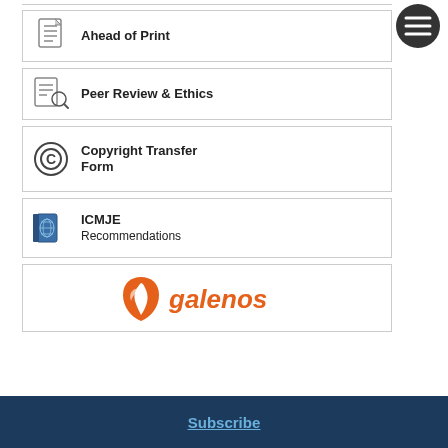[Figure (illustration): Circular dark grey menu/hamburger icon button in top right corner]
Ahead of Print
Peer Review & Ethics
Copyright Transfer Form
ICMJE Recommendations
[Figure (logo): Galenos orange logo with stylized leaf/shield and text 'galenos']
Subscribe